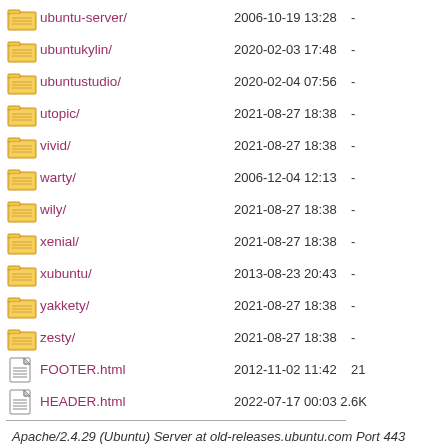ubuntu-server/   2006-10-19 13:28   -
ubuntukylin/     2020-02-03 17:48   -
ubuntustudio/    2020-02-04 07:56   -
utopic/          2021-08-27 18:38   -
vivid/           2021-08-27 18:38   -
warty/           2006-12-04 12:13   -
wily/            2021-08-27 18:38   -
xenial/          2021-08-27 18:38   -
xubuntu/         2013-08-23 20:43   -
yakkety/         2021-08-27 18:38   -
zesty/           2021-08-27 18:38   -
FOOTER.html      2012-11-02 11:42   21
HEADER.html      2022-07-17 00:03   2.6K
Apache/2.4.29 (Ubuntu) Server at old-releases.ubuntu.com Port 443